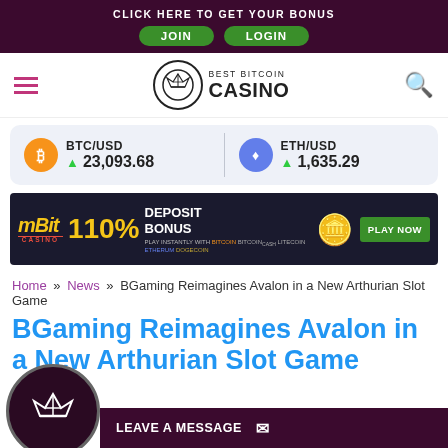CLICK HERE TO GET YOUR BONUS | JOIN | LOGIN
[Figure (logo): Best Bitcoin Casino logo with crown icon in circle]
BTC/USD 23,093.68 | ETH/USD 1,635.29
[Figure (other): mBit Casino advertisement banner: 110% DEPOSIT BONUS, PLAY INSTANTLY WITH BITCOIN BITCOIN CASH LITECOIN ETHERUM DOGECOIN, PLAY NOW button]
Home » News » BGaming Reimagines Avalon in a New Arthurian Slot Game
BGaming Reimagines Avalon in a New Arthurian Slot Game